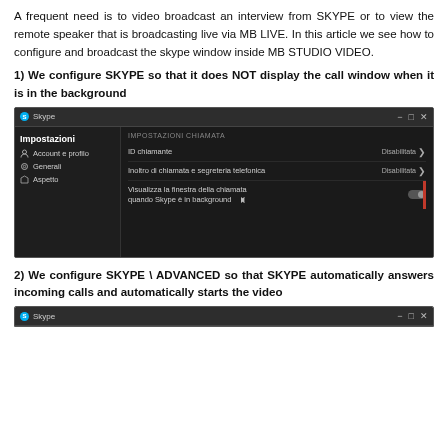A frequent need is to video broadcast an interview from SKYPE or to view the remote speaker that is broadcasting live via MB LIVE. In this article we see how to configure and broadcast the skype window inside MB STUDIO VIDEO.
1) We configure SKYPE so that it does NOT display the call window when it is in the background
[Figure (screenshot): Skype settings window showing Impostazioni (Settings) sidebar with Account e profilo, Generali, Aspetto options, and the call settings panel (IMPOSTAZIONI CHIAMATA) with ID chiamante (Disabilitata), Inoltro di chiamata e segreteria telefonica (Disabilitata), and Visualizza la finestra della chiamata quando Skype è in background toggle (off).]
2) We configure SKYPE \ ADVANCED so that SKYPE automatically answers incoming calls and automatically starts the video
[Figure (screenshot): Skype window title bar (partial screenshot showing top of window).]